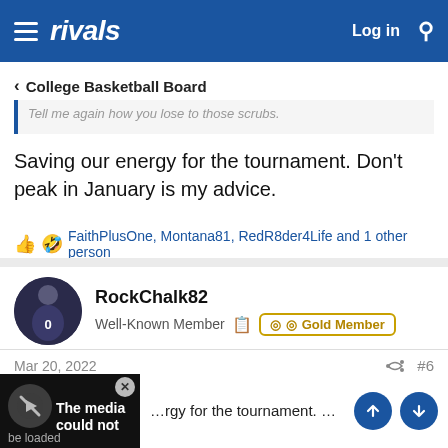rivals — Log in
< College Basketball Board
Tell me again how you lose to those scrubs.
Saving our energy for the tournament. Don't peak in January is my advice.
FaithPlusOne, Montana81, RedR8der4Life and 1 other person
RockChalk82
Well-Known Member · Gold Member
Mar 20, 2022  #6
[Figure (screenshot): Embedded media player showing 'The media could not be loaded' message with X close button]
…rgy for the tournament. Don't peak in